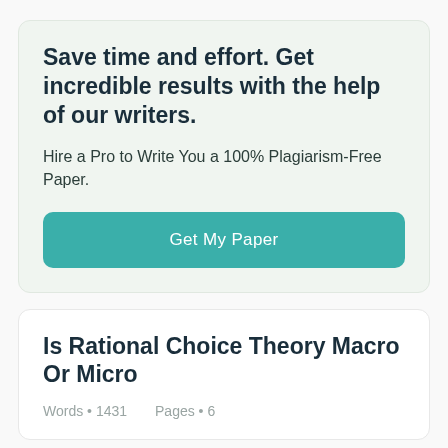Save time and effort. Get incredible results with the help of our writers.
Hire a Pro to Write You a 100% Plagiarism-Free Paper.
Get My Paper
Is Rational Choice Theory Macro Or Micro
Words • 1431    Pages • 6